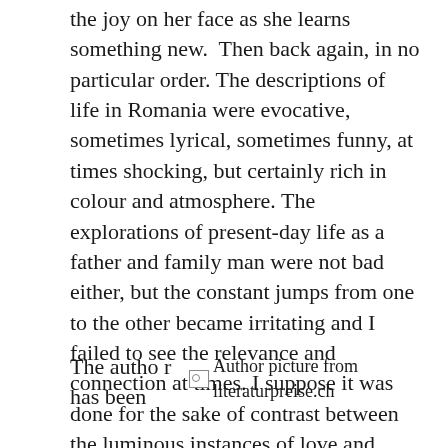the joy on her face as she learns something new. Then back again, in no particular order. The descriptions of life in Romania were evocative, sometimes lyrical, sometimes funny, at times shocking, but certainly rich in colour and atmosphere. The explorations of present-day life as a father and family man were not bad either, but the constant jumps from one to the other became irritating and I failed to see the relevance and connection at times. I suppose it was done for the sake of contrast between the luminous instances of love and protection in the ‘now’, and the rather lonely childhood under so-called ‘state protection’.
The author has been
[Figure (photo): Author picture from literaturpreise.ch — broken image placeholder shown with icon and alt text]